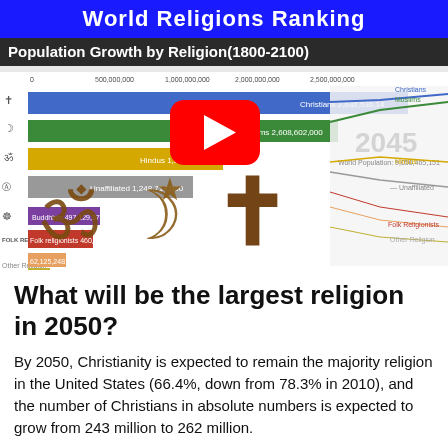[Figure (screenshot): YouTube thumbnail screenshot of 'World Religions Ranking – Population Growth by Religion (1800-2100)' animated bar chart video, showing horizontal bars for Christians, Muslims, Hindus, Unaffiliated, Buddhists, Folk religionists, Other Religion with population values circa 2045, a YouTube play button overlay, and religious symbols (Om, crescent, cross) overlaid. Year shown: 2045, World Population: 9,056,465,151.]
What will be the largest religion in 2050?
By 2050, Christianity is expected to remain the majority religion in the United States (66.4%, down from 78.3% in 2010), and the number of Christians in absolute numbers is expected to grow from 243 million to 262 million.